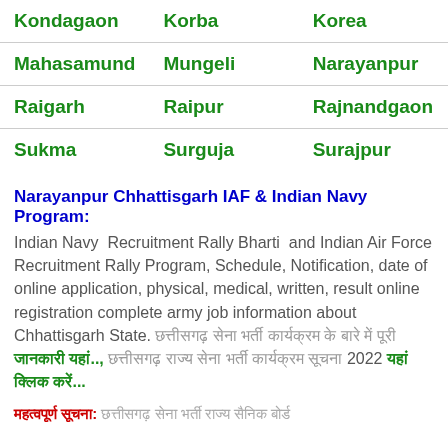| Kondagaon | Korba | Korea |
| Mahasamund | Mungeli | Narayanpur |
| Raigarh | Raipur | Rajnandgaon |
| Sukma | Surguja | Surajpur |
Narayanpur Chhattisgarh IAF & Indian Navy Program:
Indian Navy  Recruitment Rally Bharti  and Indian Air Force Recruitment Rally Program, Schedule, Notification, date of online application, physical, medical, written, result online registration complete army job information about Chhattisgarh State. [Hindi text] [Hindi text green]..., [Hindi text] 2022 [Hindi text green] [Hindi text green]...
[Hindi red bold]: [Hindi text] [Hindi text]